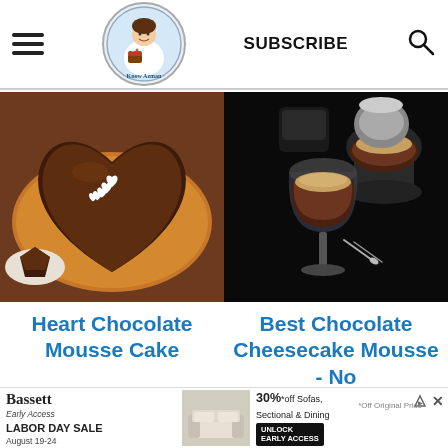Know Azman - Subscribe
[Figure (photo): Heart-shaped chocolate mousse cake with white heart decorations on a wooden board, with a slice cut out]
[Figure (photo): Best chocolate cheesecake mousse in glass dessert cups on a dark background with spoons]
Heart Chocolate Mousse Cake
Best Chocolate Cheesecake Mousse - No
[Figure (photo): Bassett Early Access Labor Day Sale advertisement with furniture image and 30% off sofas sectional and dining offer]